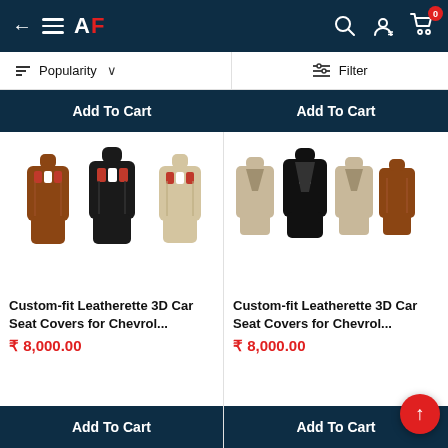AF — Navigation bar with back arrow, hamburger menu, AF logo, search, account, cart (0 items)
Popularity  ∨    Filter
[Figure (photo): Add To Cart button (top-left, truncated product card)]
[Figure (photo): Add To Cart button (top-right, truncated product card)]
[Figure (photo): Three car seat covers in brown, black, and beige colors with red-white stripes]
Custom-fit Leatherette 3D Car Seat Covers for Chevrol...
₹ 8,000.00
[Figure (photo): Five car seat covers in beige, black, and brown combination]
Custom-fit Leatherette 3D Car Seat Covers for Chevrol...
₹ 8,000.00